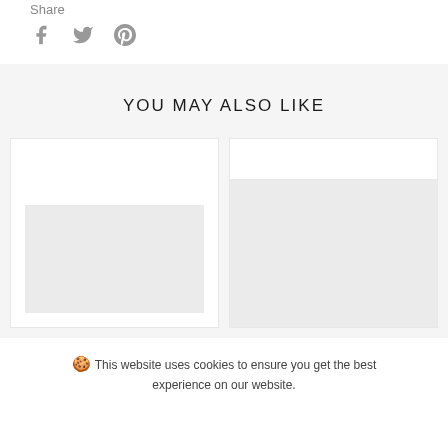Share
[Figure (illustration): Social share icons: Facebook (f), Twitter (bird), Pinterest (P) in gray]
YOU MAY ALSO LIKE
[Figure (screenshot): Two product card placeholders side by side with gray image placeholder boxes inside]
This website uses cookies to ensure you get the best experience on our website.